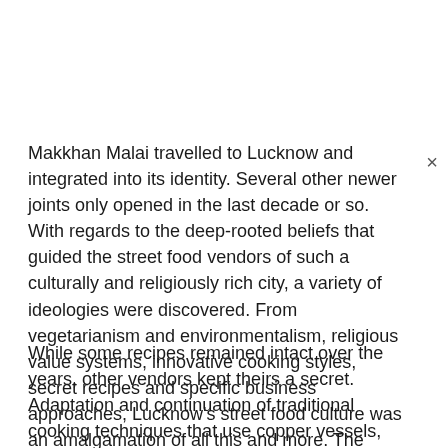Makkhan Malai travelled to Lucknow and integrated into its identity. Several other newer joints only opened in the last decade or so. With regards to the deep-rooted beliefs that guided the street food vendors of such a culturally and religiously rich city, a variety of ideologies were discovered. From vegetarianism and environmentalism, religious value systems, innovative cooking styles, secret recipes and specific business approaches, Lucknow's street food culture was an amalgamation of all this and more. The same can be said about the various cooking techniques that followed.
While some recipes remained intact over the years, other vendors kept theirs a secret. Adaptation and continuation of traditional cooking techniques that use copper vessels, tandoors, and homemade equipment were observed on-field and credibility was enhanced byeferring to old school cooking